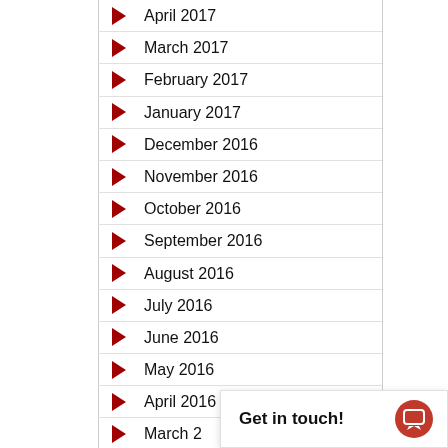April 2017
March 2017
February 2017
January 2017
December 2016
November 2016
October 2016
September 2016
August 2016
July 2016
June 2016
May 2016
April 2016
March 2016 (partial)
February (partial)
Get in touch!